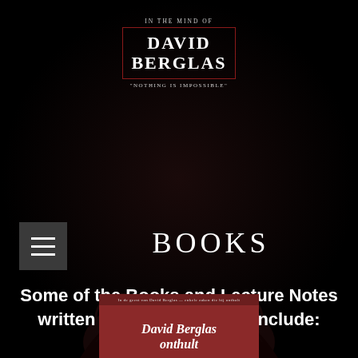[Figure (logo): David Berglas logo with red bordered box, text 'IN THE MIND OF', 'DAVID BERGLAS', 'NOTHING IS IMPOSSIBLE']
[Figure (infographic): Hamburger menu icon — three white horizontal lines on dark grey square background]
BOOKS
Some of the Books and Lecture Notes written by David Berglas, include:
[Figure (photo): Partially visible book cover with dark red/crimson background showing 'David Berglas onthult' in italic bold white text]